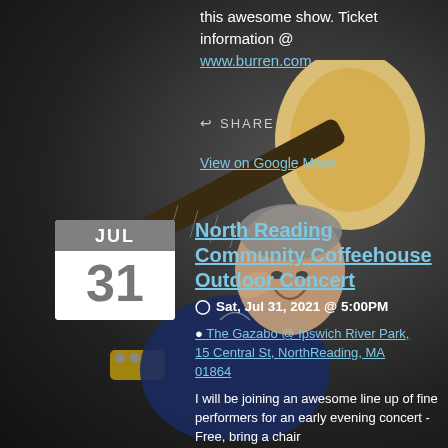this awesome show. Ticket information @ www.burren.com
SHARE
View on Google Maps
[Figure (photo): Man holding acoustic guitar, smiling, wearing dark blue shirt, on dark background]
North Reading Community Coffeehouse Outdoor Concert
Sat, Jul 31, 2021 @ 5:00PM
The Gazabo @ Ipswich River Park, 15 Central St, North Reading, MA 01864
I will be joining an awesome line up of fine performers for an early evening concert - Free, bring a chair